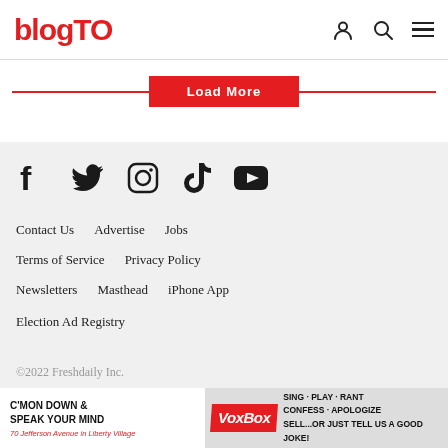blogTO
Load More
[Figure (other): Social media icons: Facebook, Twitter, Instagram, TikTok, YouTube]
Contact Us   Advertise   Jobs
Terms of Service   Privacy Policy
Newsletters   Masthead   iPhone App
Election Ad Registry
©2022 Freshdaily Inc.
[Figure (other): Advertisement banner: C'MON DOWN & SPEAK YOUR MIND VoxBox SING·PLAY·RANT CONFESS·APOLOGIZE SELL...or just tell us a good joke! 70 Jefferson Avenue in Liberty Village]